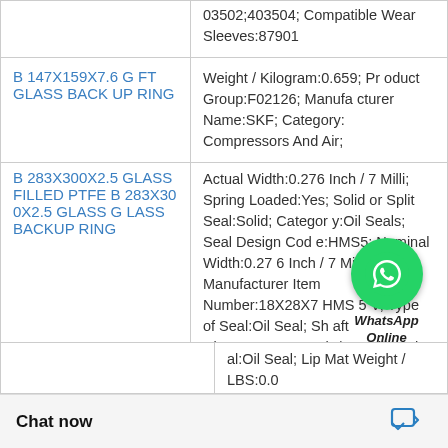| Product Name | Specifications |
| --- | --- |
|  | 03502;403504; Compatible Wear Sleeves:87901 |
| B 147X159X7.6 GFT GLASS BACK UP RING | Weight / Kilogram:0.659; Product Group:F02126; Manufacturer Name:SKF; Category:Compressors And Air; |
| B 283X300X2.5 GLASS FILLED PTFE B 283X300X2.5 GLASS GLASS BACKUP RING | Actual Width:0.276 Inch / 7 Milli; Spring Loaded:Yes; Solid or Split Seal:Solid; Category:Oil Seals; Seal Design Code:HMS5; Nominal Width:0.276 Inch / 7 Milli; Manufacturer Item Number:18X28X7 HMS5 V; Type of Seal:Oil Seal; Shaft Diameter:0.709 Inch / 18 Mill; Inch - Metric:Metric; Harmonized Tariff |
|  | al:Oil Seal; Lip Mat Weight / LBS:0.0 |
[Figure (logo): WhatsApp Online button overlay with green circle icon and italic bold text 'WhatsApp Online']
Chat now
al:Oil Seal; Lip Mat Weight / LBS:0.0